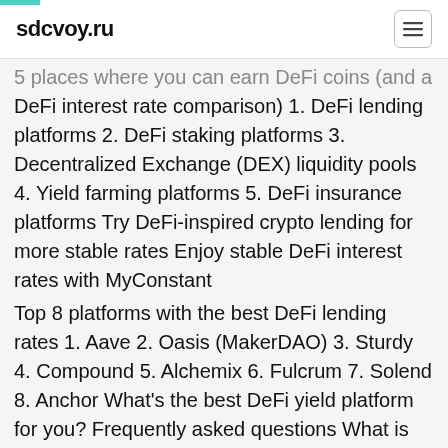sdcvoy.ru
5 places where you can earn DeFi coins (and a DeFi interest rate comparison) 1. DeFi lending platforms 2. DeFi staking platforms 3. Decentralized Exchange (DEX) liquidity pools 4. Yield farming platforms 5. DeFi insurance platforms Try DeFi-inspired crypto lending for more stable rates Enjoy stable DeFi interest rates with MyConstant
Top 8 platforms with the best DeFi lending rates 1. Aave 2. Oasis (MakerDAO) 3. Sturdy 4. Compound 5. Alchemix 6. Fulcrum 7. Solend 8. Anchor What's the best DeFi yield platform for you? Frequently asked questions What is DeFi lending?